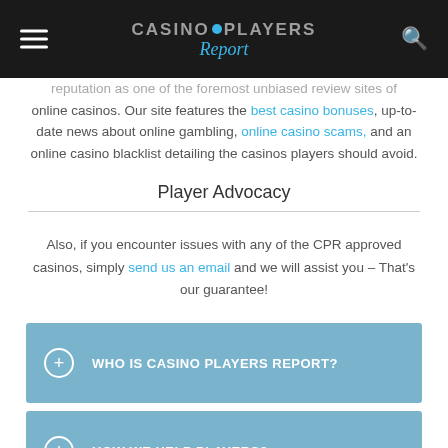Casino Players Report
reputation as one of the foremost unbiased review sites of online casinos. Our site features the best casino bonuses, up-to-date news about online gambling, online casino scams, and an online casino blacklist detailing the casinos players should avoid.
Player Advocacy
Also, if you encounter issues with any of the CPR approved casinos, simply send us an email and we will assist you – That's our guarantee!
WHO IS CASINO PLAYERS REPORT?
HOW WE HELP PLAYERS?